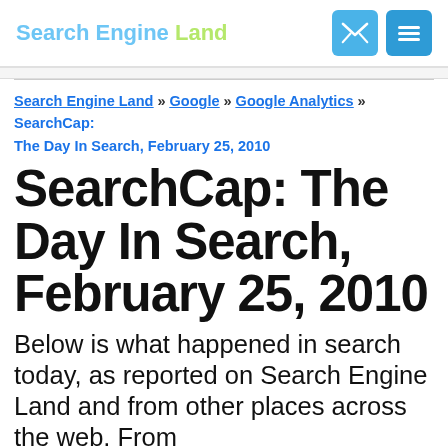Search Engine Land
Search Engine Land » Google » Google Analytics » SearchCap: The Day In Search, February 25, 2010
SearchCap: The Day In Search, February 25, 2010
Below is what happened in search today, as reported on Search Engine Land and from other places across the web. From